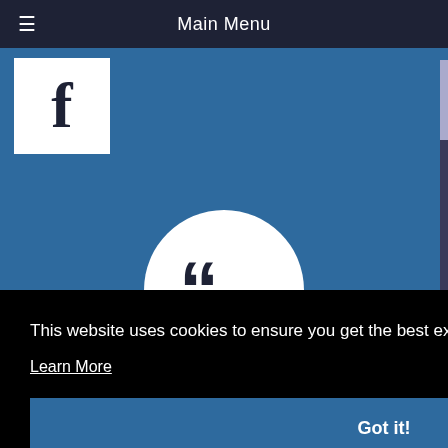Main Menu
[Figure (logo): Facebook logo - white square with bold letter f]
[Figure (illustration): White circle with dark blue quotation marks icon on blue background]
you for
g and
will be
ears.
This website uses cookies to ensure you get the best experience on our website.
Learn More
Got it!